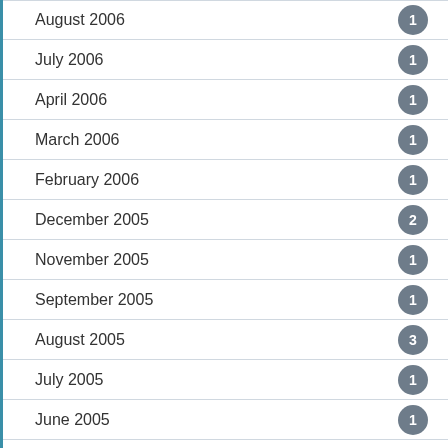August 2006
July 2006
April 2006
March 2006
February 2006
December 2005
November 2005
September 2005
August 2005
July 2005
June 2005